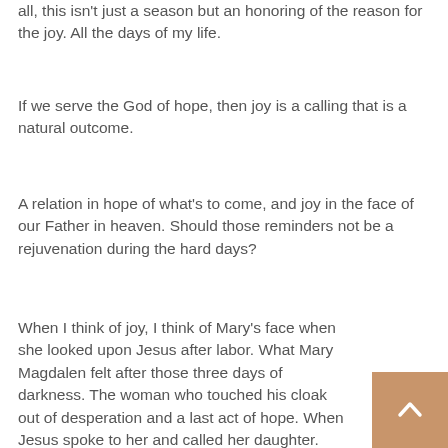all, this isn't just a season but an honoring of the reason for the joy. All the days of my life.
If we serve the God of hope, then joy is a calling that is a natural outcome.
A relation in hope of what's to come, and joy in the face of our Father in heaven. Should those reminders not be a rejuvenation during the hard days?
When I think of joy, I think of Mary's face when she looked upon Jesus after labor. What Mary Magdalen felt after those three days of darkness. The woman who touched his cloak out of desperation and a last act of hope. When Jesus spoke to her and called her daughter.